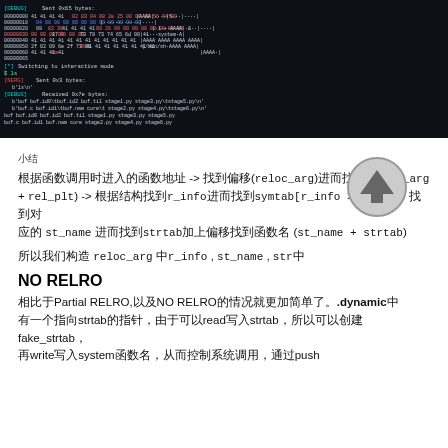[Figure (screenshot): Terminal/debugger output showing hex dump of memory and interactive shell session with pwntools, listing files in a CTF challenge directory including bof.c, bof.idl, bof.aam, core, stage files.]
小结
根据函数调用时进入的函数地址 -> 找到偏移(reloc_arg)进而找到(reloc_arg + rel_plt) -> 根据结构找到r_info进而找到symtab[r_info >> 8]中 -> 找到对应 st_name 进而找到strtab加上偏移找到函数名 (st_name + strtab)
所以我们构造 reloc_arg 中r_info , st_name , str中
NO RELRO
相比于Partial RELRO,以及NO RELRO的情况就更加简单了。.dynamic中有一个指向strtab的指针，由于可以read写入strtab，所以可以创建fake_strtab，再write写入system函数名，从而控制系统调用，通过push